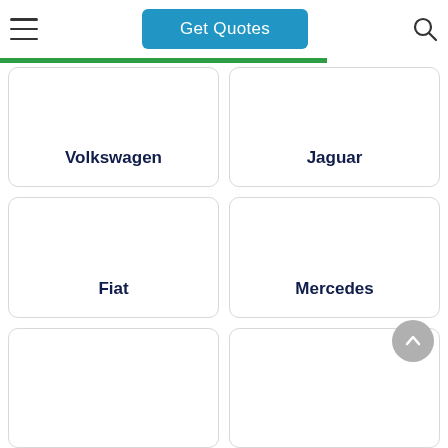Get Quotes
[Figure (other): Brand card for Volkswagen]
[Figure (other): Brand card for Jaguar]
[Figure (other): Brand card for Fiat]
[Figure (other): Brand card for Mercedes]
[Figure (other): Brand card (partially visible, bottom left)]
[Figure (other): Brand card (partially visible, bottom right)]